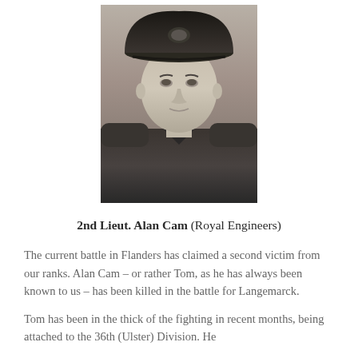[Figure (photo): Black and white portrait photograph of a young man in a military uniform with cap, facing the camera]
2nd Lieut. Alan Cam (Royal Engineers)
The current battle in Flanders has claimed a second victim from our ranks. Alan Cam – or rather Tom, as he has always been known to us – has been killed in the battle for Langemarck.
Tom has been in the thick of the fighting in recent months, being attached to the 36th (Ulster) Division. He